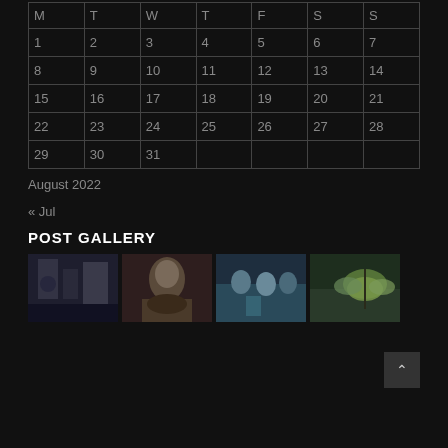| M | T | W | T | F | S | S |
| --- | --- | --- | --- | --- | --- | --- |
| 1 | 2 | 3 | 4 | 5 | 6 | 7 |
| 8 | 9 | 10 | 11 | 12 | 13 | 14 |
| 15 | 16 | 17 | 18 | 19 | 20 | 21 |
| 22 | 23 | 24 | 25 | 26 | 27 | 28 |
| 29 | 30 | 31 |  |  |  |  |
August 2022
« Jul
POST GALLERY
[Figure (photo): Gallery thumbnail 1 - street scene]
[Figure (photo): Gallery thumbnail 2 - portrait of woman]
[Figure (photo): Gallery thumbnail 3 - people at event]
[Figure (photo): Gallery thumbnail 4 - butterfly]